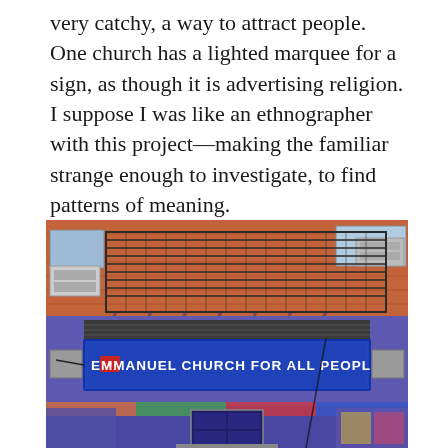very catchy, a way to attract people. One church has a lighted marquee for a sign, as though it is advertising religion. I suppose I was like an ethnographer with this project—making the familiar strange enough to investigate, to find patterns of meaning.
[Figure (photo): Photograph of Emmanuel Church for All People, a storefront church with a blue facade, illuminated marquee sign reading 'EMMANUEL CHURCH FOR ALL PEOPLE', fire escape above, and brick building behind. Located in an urban neighborhood.]